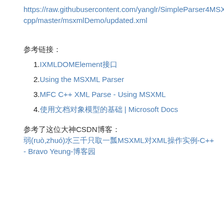https://raw.githubusercontent.com/yanglr/SimpleParser4MSXML-cpp/master/msxmlDemo/updated.xml
参考链接:
1. IXMLDOMElement接口
2. Using the MSXML Parser
3. MFC C++ XML Parse - Using MSXML
4. 使用文档对象模型的基础 | Microsoft Docs
参考了这位大神CSDN博客: 弱(ruò,zhuó)水三千只取一瓢MSXML对XML操作实例-C++ - Bravo Yeung-博客园